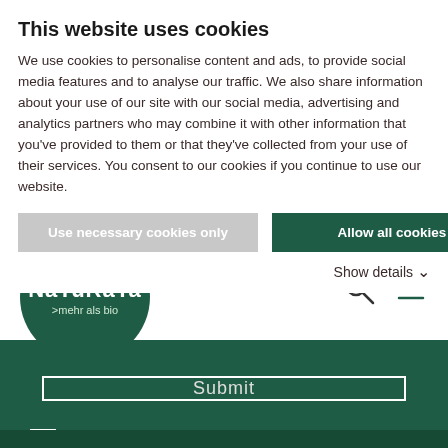This website uses cookies
We use cookies to personalise content and ads, to provide social media features and to analyse our traffic. We also share information about your use of our site with our social media, advertising and analytics partners who may combine it with other information that you've provided to them or that they've collected from your use of their services. You consent to our cookies if you continue to use our website.
Use necessary cookies only
Allow all cookies
Show details
[Figure (logo): Naturata logo - white text on dark green circle, with tagline '>mehr als bio']
[Figure (screenshot): Search icon and hamburger menu icon in top right of navigation bar]
Submit
Privacy policy